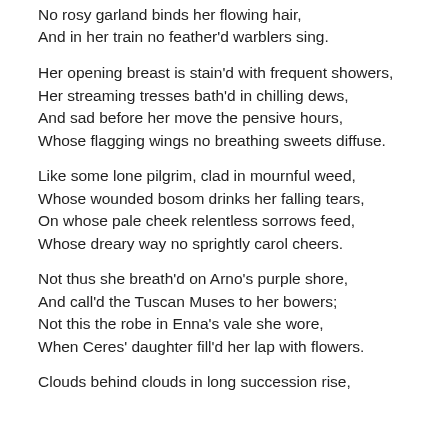No rosy garland binds her flowing hair,
And in her train no feather'd warblers sing.
Her opening breast is stain'd with frequent showers,
Her streaming tresses bath'd in chilling dews,
And sad before her move the pensive hours,
Whose flagging wings no breathing sweets diffuse.
Like some lone pilgrim, clad in mournful weed,
Whose wounded bosom drinks her falling tears,
On whose pale cheek relentless sorrows feed,
Whose dreary way no sprightly carol cheers.
Not thus she breath'd on Arno's purple shore,
And call'd the Tuscan Muses to her bowers;
Not this the robe in Enna's vale she wore,
When Ceres' daughter fill'd her lap with flowers.
Clouds behind clouds in long succession rise,